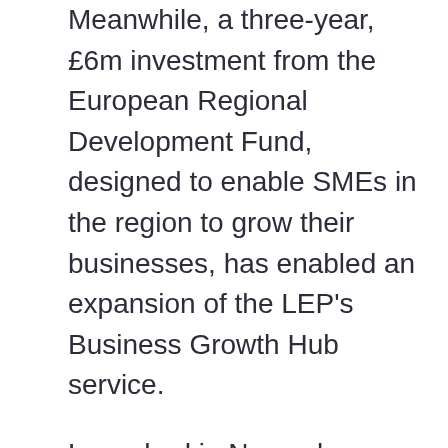Meanwhile, a three-year, £6m investment from the European Regional Development Fund, designed to enable SMEs in the region to grow their businesses, has enabled an expansion of the LEP's Business Growth Hub service.
Launched in November 2018, the Growth Hub's new #GrowMySME Programme is the Growth Hub's dedicated new package of high-growth SME support, consisting of the three complementary strands: the ICT for Growth Scheme, the Finance for Growth Scheme and the Business Growth Scheme.
We have also made partnerships with